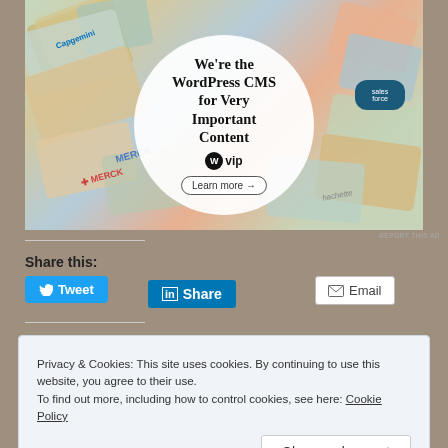[Figure (screenshot): WordPress VIP advertisement banner with circular overlay text reading 'We're the WordPress CMS for Very Important Content' with WP VIP logo and 'Learn more' button, set against a colorful background with branded content cards including Merck, Capgemini, Salesforce, and Hachette logos]
REPORT THIS AD
Share this:
Tweet
Share
Email
Privacy & Cookies: This site uses cookies. By continuing to use this website, you agree to their use.
To find out more, including how to control cookies, see here: Cookie Policy
Close and accept